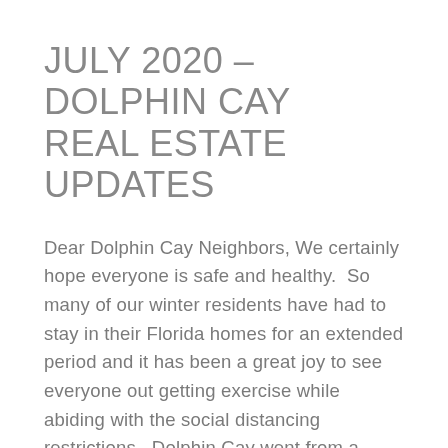JULY 2020 – DOLPHIN CAY REAL ESTATE UPDATES
Dear Dolphin Cay Neighbors, We certainly hope everyone is safe and healthy.  So many of our winter residents have had to stay in their Florida homes for an extended period and it has been a great joy to see everyone out getting exercise while abiding with the social distancing restrictions.  Dolphin Cay went from a...
READ MORE